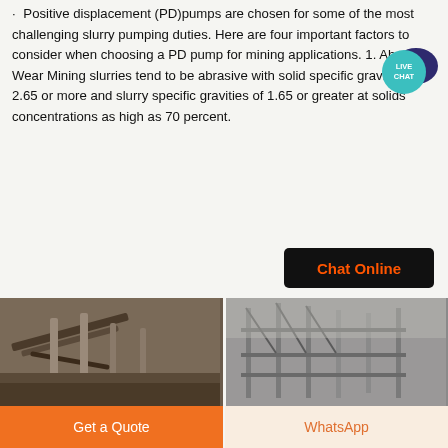· Positive displacement (PD)pumps are chosen for some of the most challenging slurry pumping duties. Here are four important factors to consider when choosing a PD pump for mining applications. 1. Abrasive Wear Mining slurries tend to be abrasive with solid specific gravities of 2.65 or more and slurry specific gravities of 1.65 or greater at solids concentrations as high as 70 percent.
[Figure (illustration): Live Chat badge/icon - teal circular button with 'LIVE CHAT' text and speech bubble graphic in dark blue/navy]
[Figure (illustration): Black button with orange text reading 'Chat Online']
[Figure (photo): Two side-by-side photos of mining/industrial equipment - conveyor belts and scaffolding structures at a mining site]
[Figure (illustration): Bottom navigation bar with orange 'Get a Quote' button on left and light peach 'WhatsApp' button on right]